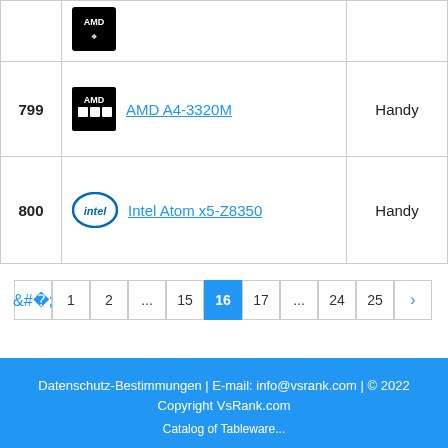| Rank | CPU | Type |
| --- | --- | --- |
|  | AMD (logo only) |  |
| 799 | AMD A4-3320M | Handy |
| 800 | Intel Atom x5-Z8350 | Handy |
Pagination: ‹ 1 2 ... 15 16 17 ... 24 25 ›
Datenschutz-Bestimmungen | E-mail: info@vsrank.com | © 2022 Copyright VsRank.com